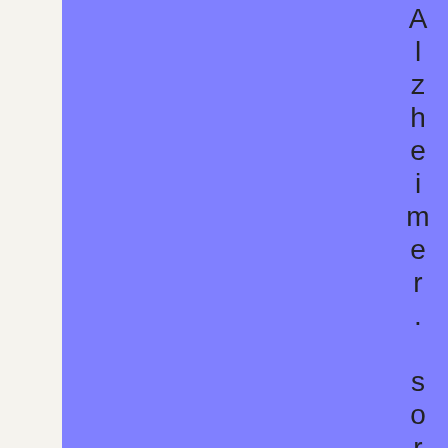[Figure (other): Large blue-purple rectangle covering the left portion of the page]
Alzheimer.sor another ty